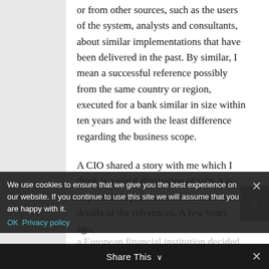or from other sources, such as the users of the system, analysts and consultants, about similar implementations that have been delivered in the past. By similar, I mean a successful reference possibly from the same country or region, executed for a bank similar in size within ten years and with the least difference regarding the business scope.
A CIO shared a story with me which I think is a good illustration of why it is important to pay close attention to the details of the references. A few years ago, a European financial institution decided to replace its core banking system. They found a likable vendor that presented a "similar" implementation project that was carried out quickly and successfully.
We use cookies to ensure that we give you the best experience on our website. If you continue to use this site we will assume that you are happy with it.